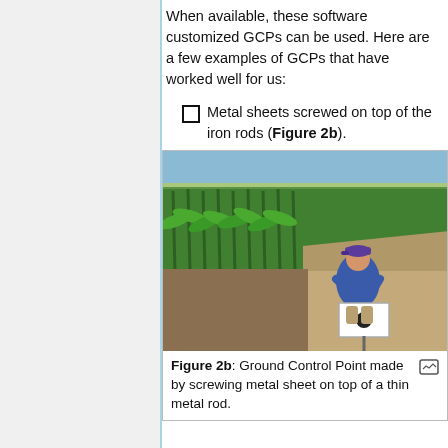When available, these software customized GCPs can be used. Here are a few examples of GCPs that have worked well for us:
Metal sheets screwed on top of the iron rods (Figure 2b).
[Figure (photo): A person crouching next to a cornfield, placing or examining a white metal sheet (ground control point) on a thin metal rod in a dirt path beside green corn plants. Sky is visible in background.]
Figure 2b: Ground Control Point made by screwing metal sheet on top of a thin metal rod.